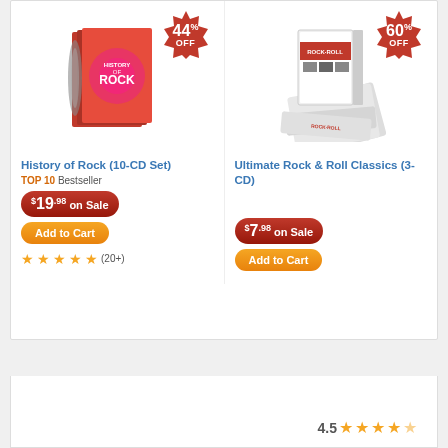[Figure (photo): History of Rock 10-CD Set product image with 44% OFF badge]
History of Rock (10-CD Set)
TOP 10 Bestseller
$19.98 on Sale
Add to Cart
(20+)
[Figure (photo): Ultimate Rock & Roll Classics 3-CD Set product image with 60% OFF badge]
Ultimate Rock & Roll Classics (3-CD)
$7.98 on Sale
Add to Cart
4.5